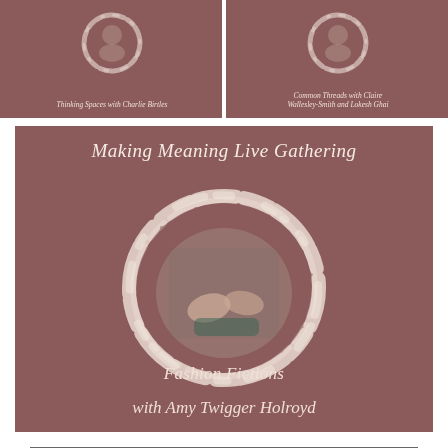[Figure (photo): Card with circular brush-stroke frame containing a photo, labeled 'Thinking Spaces with Charlie Birtles']
Thinking Spaces with Charlie Birtles
[Figure (photo): Card with circular brush-stroke frame containing a photo, labeled 'Common Threads with Claire Wallesley-Smith and Lokesh Ghai']
Common Threads with Claire Wallesley-Smith and Lokesh Ghai
[Figure (photo): Large card with circular brush-stroke frame containing a photo of hands working with fabric, titled 'Making Meaning Live Gathering' and subtitled 'Fashion Fictions with Amy Twigger Holroyd']
Making Meaning Live Gathering
Fashion Fictions with Amy Twigger Holroyd